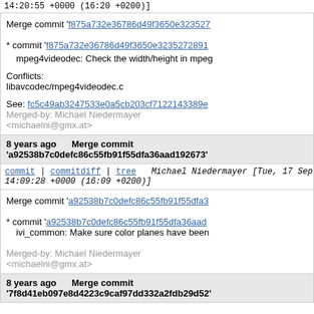14:20:55 +0000 (16:20 +0200)]
Merge commit 'f875a732e36786d49f3650e323527...
* commit 'f875a732e36786d49f3650e3235272891...
  mpeg4videodec: Check the width/height in mpeg...
Conflicts:
libavcodec/mpeg4videodec.c
See: fc5c49ab3247533e0a5cb203cf7122143389e...
Merged-by: Michael Niedermayer <michaelni@gmx.at>
8 years ago   Merge commit 'a92538b7c0defc86c55fb91f55dfa36aad192673'
commit | commitdiff | tree   Michael Niedermayer [Tue, 17 Sep 2013 14:09:28 +0000 (16:09 +0200)]
Merge commit 'a92538b7c0defc86c55fb91f55dfa3...
* commit 'a92538b7c0defc86c55fb91f55dfa36aad...
  ivi_common: Make sure color planes have been...
Merged-by: Michael Niedermayer <michaelni@gmx.at>
8 years ago   Merge commit '7f8d41eb097e8d4223c9caf97dd332a2fdb29d52'